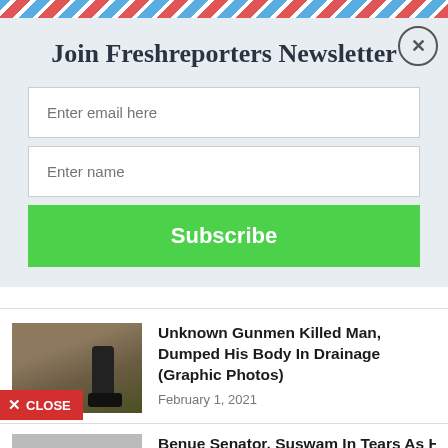Join Freshreporters Newsletter
Enter email here
Enter name
Subscribe
Unknown Gunmen Killed Man, Dumped His Body In Drainage (Graphic Photos)
February 1, 2021
[Figure (photo): News article thumbnail showing a body near a drainage]
Benue Senator, Suswam In Tears As He
[Figure (photo): Partially visible news thumbnail for second article]